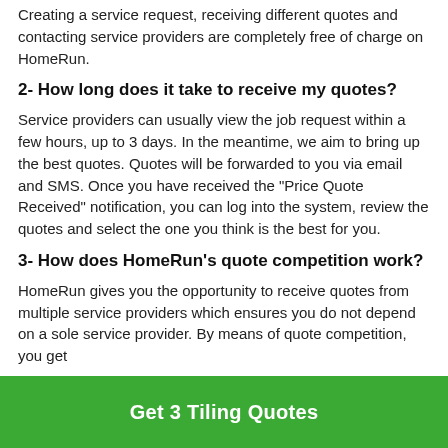Creating a service request, receiving different quotes and contacting service providers are completely free of charge on HomeRun.
2- How long does it take to receive my quotes?
Service providers can usually view the job request within a few hours, up to 3 days. In the meantime, we aim to bring up the best quotes. Quotes will be forwarded to you via email and SMS. Once you have received the "Price Quote Received" notification, you can log into the system, review the quotes and select the one you think is the best for you.
3- How does HomeRun's quote competition work?
HomeRun gives you the opportunity to receive quotes from multiple service providers which ensures you do not depend on a sole service provider. By means of quote competition, you get
[Figure (other): Green call-to-action button with white text reading 'Get 3 Tiling Quotes']